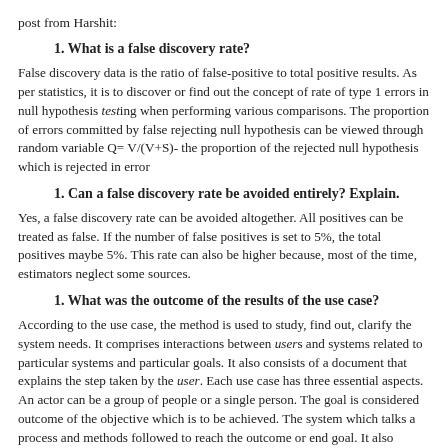post from Harshit:
1. What is a false discovery rate?
False discovery data is the ratio of false-positive to total positive results. As per statistics, it is to discover or find out the concept of rate of type 1 errors in null hypothesis testing when performing various comparisons. The proportion of errors committed by false rejecting null hypothesis can be viewed through random variable Q= V/(V+S)- the proportion of the rejected null hypothesis which is rejected in error
1. Can a false discovery rate be avoided entirely? Explain.
Yes, a false discovery rate can be avoided altogether. All positives can be treated as false. If the number of false positives is set to 5%, the total positives maybe 5%. This rate can also be higher because, most of the time, estimators neglect some sources.
1. What was the outcome of the results of the use case?
According to the use case, the method is used to study, find out, clarify the system needs. It comprises interactions between users and systems related to particular systems and particular goals. It also consists of a document that explains the step taken by the user. Each use case has three essential aspects. An actor can be a group of people or a single person. The goal is considered outcome of the objective which is to be achieved. The system which talks about process and methods followed to reach the outcome or end goal. It also includes